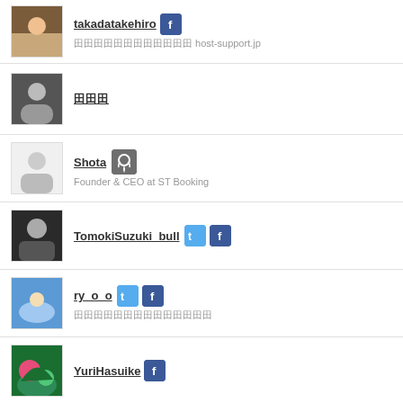takadatakehiro — host-support.jp
田田田
Shota — Founder & CEO at ST Booking
TomokiSuzuki_bull
ry_o_o — Japanese text
YuriHasuike
KarinSatomi
marino_noguchi